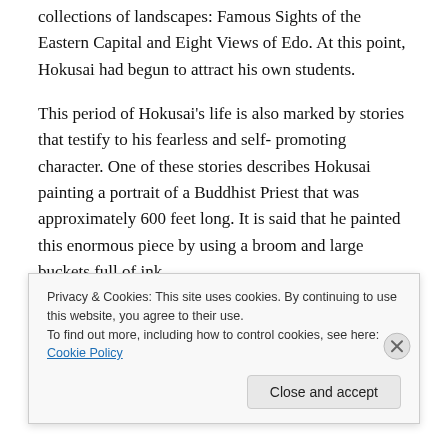collections of landscapes: Famous Sights of the Eastern Capital and Eight Views of Edo. At this point, Hokusai had begun to attract his own students.
This period of Hokusai's life is also marked by stories that testify to his fearless and self- promoting character. One of these stories describes Hokusai painting a portrait of a Buddhist Priest that was approximately 600 feet long. It is said that he painted this enormous piece by using a broom and large buckets full of ink.
Another story tells of Hokusai competing against other
Privacy & Cookies: This site uses cookies. By continuing to use this website, you agree to their use.
To find out more, including how to control cookies, see here: Cookie Policy